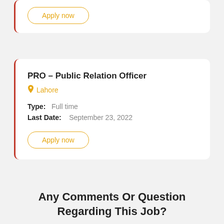Apply now
PRO – Public Relation Officer
Lahore
Type: Full time
Last Date: September 23, 2022
Apply now
Any Comments Or Question Regarding This Job?